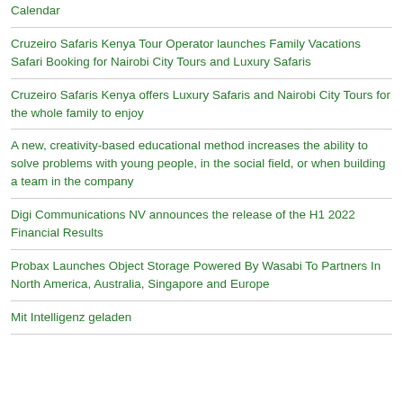Calendar
Cruzeiro Safaris Kenya Tour Operator launches Family Vacations Safari Booking for Nairobi City Tours and Luxury Safaris
Cruzeiro Safaris Kenya offers Luxury Safaris and Nairobi City Tours for the whole family to enjoy
A new, creativity-based educational method increases the ability to solve problems with young people, in the social field, or when building a team in the company
Digi Communications NV announces the release of the H1 2022 Financial Results
Probax Launches Object Storage Powered By Wasabi To Partners In North America, Australia, Singapore and Europe
Mit Intelligenz geladen